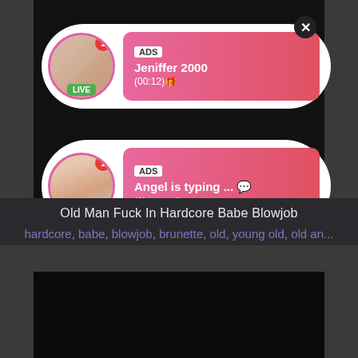[Figure (screenshot): Ad notification card 1: Avatar with LIVE badge, ADS label, 'Jeniffer 2000', '(00:12)🎁', close button]
[Figure (screenshot): Ad notification card 2: Avatar with LIVE badge, ADS label, 'Angel is typing ... 💬', '(1) unread message', HD badge, 7 min badge]
Old Man Fuck In Hardcore Babe Blowjob
hardcore, babe, blowjob, brunette, old, young old, old an...
[Figure (photo): Black video player area]